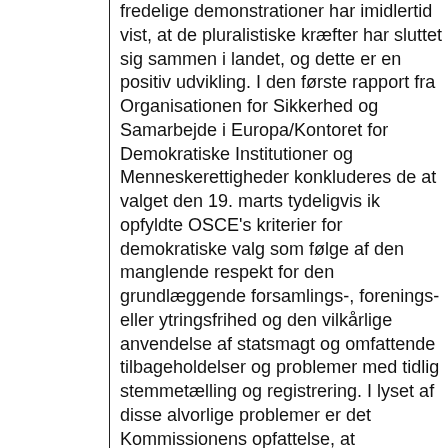fredelige demonstrationer har imidlertid vist, at de pluralistiske kræfter har sluttet sig sammen i landet, og dette er en positiv udvikling. I den første rapport fra Organisationen for Sikkerhed og Samarbejde i Europa/Kontoret for Demokratiske Institutioner og Menneskerettigheder konkluderes det, at valget den 19. marts tydeligvis ikke opfyldte OSCE's kriterier for demokratiske valg som følge af den manglende respekt for den grundlæggende forsamlings-, forenings- eller ytringsfrihed og den vilkårlige anvendelse af statsmagt og omfattende tilbageholdelser og problemer med tidlig stemmetælling og registrering. I lyset af disse alvorlige problemer er det Kommissionens opfattelse, at præsidentvalget i Belarus i bund og grund var uregelmæssigt. Dette rejser alvorlig tvivl om, hvorvidt valgresultatet virkelig afspeiler det